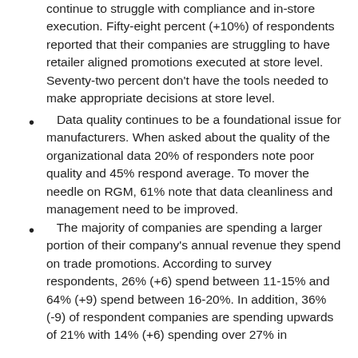continue to struggle with compliance and in-store execution. Fifty-eight percent (+10%) of respondents reported that their companies are struggling to have retailer aligned promotions executed at store level. Seventy-two percent don't have the tools needed to make appropriate decisions at store level.
Data quality continues to be a foundational issue for manufacturers. When asked about the quality of the organizational data 20% of responders note poor quality and 45% respond average. To mover the needle on RGM, 61% note that data cleanliness and management need to be improved.
The majority of companies are spending a larger portion of their company's annual revenue they spend on trade promotions. According to survey respondents, 26% (+6) spend between 11-15% and 64% (+9) spend between 16-20%. In addition, 36% (-9) of respondent companies are spending upwards of 21% with 14% (+6) spending over 27% in...